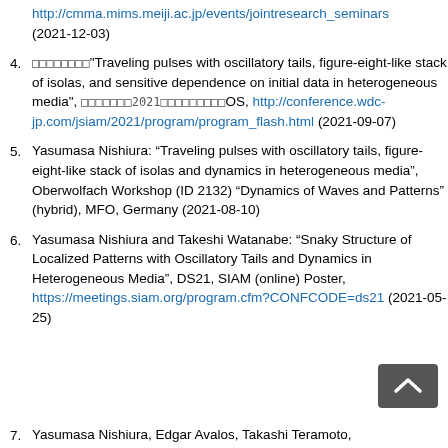http://cmma.mims.meiji.ac.jp/events/jointresearch_seminars (2021-12-03)
4. □□□□□□□□"Traveling pulses with oscillatory tails, figure-eight-like stack of isolas, and sensitive dependence on initial data in heterogeneous media", □□□□□□□2021□□□□□□□OS, http://conference.wdc-jp.com/jsiam/2021/program/program_flash.html (2021-09-07)
5. Yasumasa Nishiura: “Traveling pulses with oscillatory tails, figure-eight-like stack of isolas and dynamics in heterogeneous media”, Oberwolfach Workshop (ID 2132) “Dynamics of Waves and Patterns” (hybrid), MFO, Germany (2021-08-10)
6. Yasumasa Nishiura and Takeshi Watanabe: “Snaky Structure of Localized Patterns with Oscillatory Tails and Dynamics in Heterogeneous Media”, DS21, SIAM (online) Poster, https://meetings.siam.org/program.cfm?CONFCODE=ds21 (2021-05-25)
7. Yasumasa Nishiura, Edgar Avalos, Takashi Teramoto...